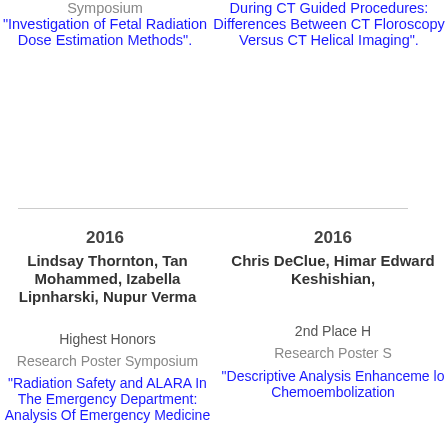Symposium "Investigation of Fetal Radiation Dose Estimation Methods".
During CT Guided Procedures: Differences Between CT Floroscopy Versus CT Helical Imaging".
2016
Lindsay Thornton, Tan Mohammed, Izabella Lipnharski, Nupur Verma
Highest Honors
Research Poster Symposium
"Radiation Safety and ALARA In The Emergency Department: Analysis Of Emergency Medicine
2016
Chris DeClue, Himar Edward Keshishian,
2nd Place H
Research Poster S
"Descriptive Analysis Enhanceme lo Chemoembolization